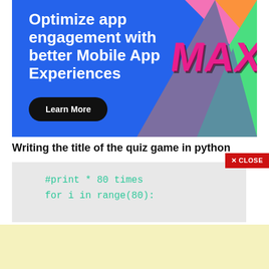[Figure (illustration): Advertisement banner with blue background showing 'Optimize app engagement with better Mobile App Experiences' text, a Learn More button, and colorful geometric triangles with MAX text on the right side.]
Writing the title of the quiz game in python
#print * 80 times
for i in range(80):